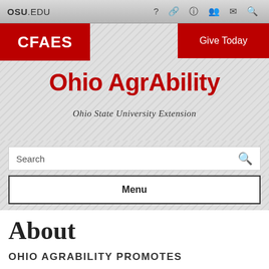OSU.EDU
[Figure (screenshot): CFAES red branding box with white text]
[Figure (screenshot): Give Today red button in top right corner]
Ohio AgrAbility
Ohio State University Extension
Search
Menu
About
OHIO AGRABILITY PROMOTES